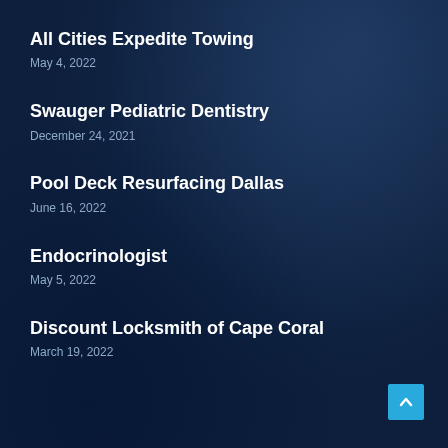All Cities Expedite Towing
May 4, 2022
Swauger Pediatric Dentistry
December 24, 2021
Pool Deck Resurfacing Dallas
June 16, 2022
Endocrinologist
May 5, 2022
Discount Locksmith of Cape Coral
March 19, 2022